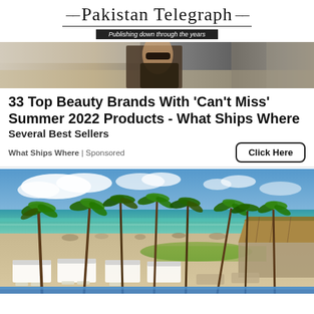Pakistan Telegraph — Publishing down through the years
[Figure (photo): Close-up photo of a woman at the beach wearing sunglasses]
33 Top Beauty Brands With 'Can't Miss' Summer 2022 Products - What Ships Where
Several Best Sellers
What Ships Where | Sponsored
Click Here
[Figure (photo): Tropical beach resort with palm trees, white sand, cabanas, and turquoise ocean water, with a swimming pool in the foreground]